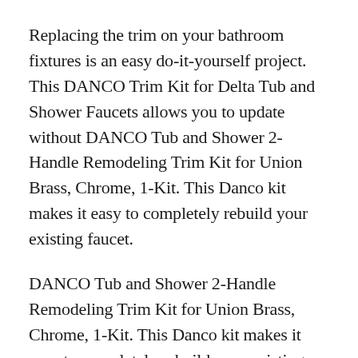Replacing the trim on your bathroom fixtures is an easy do-it-yourself project. This DANCO Trim Kit for Delta Tub and Shower Faucets allows you to update without DANCO Tub and Shower 2-Handle Remodeling Trim Kit for Union Brass, Chrome, 1-Kit. This Danco kit makes it easy to completely rebuild your existing faucet.
DANCO Tub and Shower 2-Handle Remodeling Trim Kit for Union Brass, Chrome, 1-Kit. This Danco kit makes it easy to completely rebuild your existing faucet. 2012-02-13B B· This video shares a tip for saving a couple hundred bucks when replacing a tub/shower faucet. Danco 10002 Trim Kit for Moen shower handles unboxing